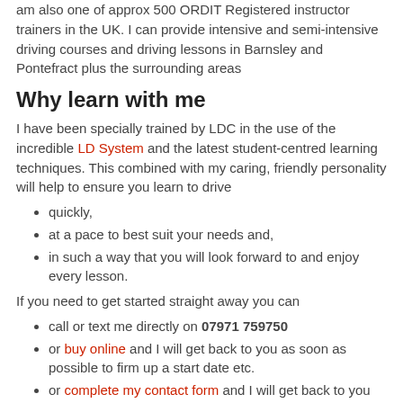am also one of approx 500 ORDIT Registered instructor trainers in the UK. I can provide intensive and semi-intensive driving courses and driving lessons in Barnsley and Pontefract plus the surrounding areas
Why learn with me
I have been specially trained by LDC in the use of the incredible LD System and the latest student-centred learning techniques. This combined with my caring, friendly personality will help to ensure you learn to drive
quickly,
at a pace to best suit your needs and,
in such a way that you will look forward to and enjoy every lesson.
If you need to get started straight away you can
call or text me directly on 07971 759750
or buy online and I will get back to you as soon as possible to firm up a start date etc.
or complete my contact form and I will get back to you
Alternatively, if you just want to find out more about me and what I